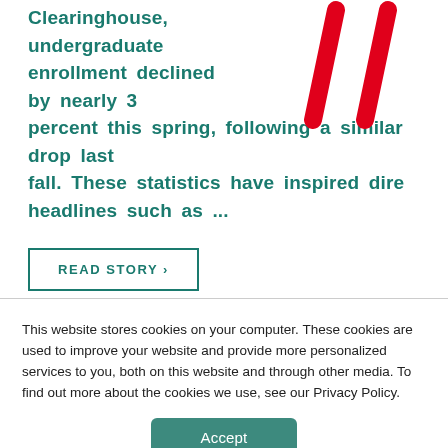Clearinghouse, undergraduate enrollment declined by nearly 3 percent this spring, following a similar drop last fall. These statistics have inspired dire headlines such as ...
[Figure (illustration): Two red diagonal slash marks (decorative graphic element) in the upper right area of the page]
READ STORY ›
This website stores cookies on your computer. These cookies are used to improve your website and provide more personalized services to you, both on this website and through other media. To find out more about the cookies we use, see our Privacy Policy.
Accept